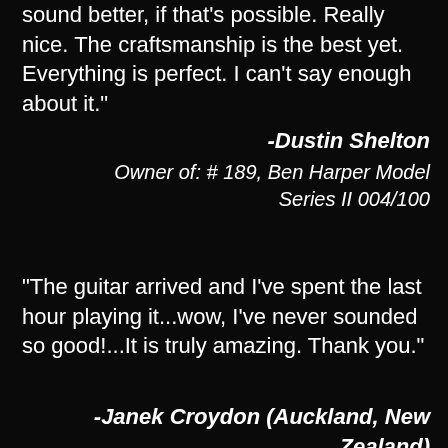sound better, if that's possible. Really nice. The craftsmanship is the best yet. Everything is perfect. I can't say enough about it."
-Dustin Shelton
Owner of: # 189, Ben Harper Model Series II 004/100
"The guitar arrived and I've spent the last hour playing it...wow, I've never sounded so good!...It is truly amazing. Thank you."
-Janek Croydon (Auckland, New Zealand)